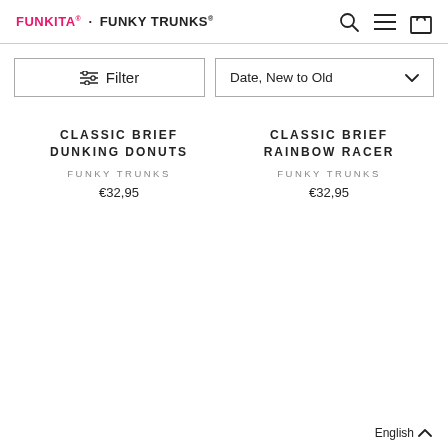FUNKITA · FUNKY TRUNKS
Filter | Date, New to Old
CLASSIC BRIEF DUNKING DONUTS | FUNKY TRUNKS | €32,95
CLASSIC BRIEF RAINBOW RACER | FUNKY TRUNKS | €32,95
English